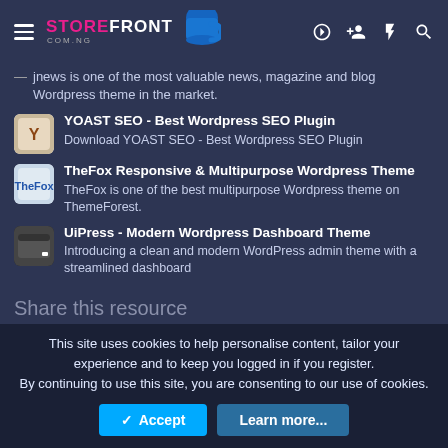STORE FRONT COM.NG
JNews is one of the most valuable news, magazine and blog Wordpress theme in the market.
YOAST SEO - Best Wordpress SEO Plugin
Download YOAST SEO - Best Wordpress SEO Plugin
TheFox Responsive & Multipurpose Wordpress Theme
TheFox is one of the best multipurpose Wordpress theme on ThemeForest.
UiPress - Modern Wordpress Dashboard Theme
Introducing a clean and modern WordPress admin theme with a streamlined dashboard
Share this resource
This site uses cookies to help personalise content, tailor your experience and to keep you logged in if you register.
By continuing to use this site, you are consenting to our use of cookies.